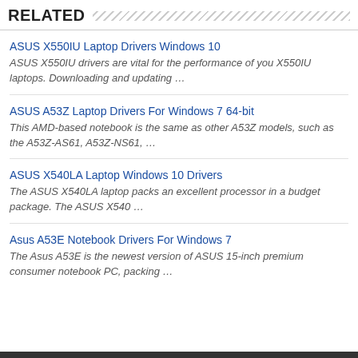RELATED
ASUS X550IU Laptop Drivers Windows 10
ASUS X550IU drivers are vital for the performance of you X550IU laptops. Downloading and updating …
ASUS A53Z Laptop Drivers For Windows 7 64-bit
This AMD-based notebook is the same as other A53Z models, such as the A53Z-AS61, A53Z-NS61, …
ASUS X540LA Laptop Windows 10 Drivers
The ASUS X540LA laptop packs an excellent processor in a budget package. The ASUS X540 …
Asus A53E Notebook Drivers For Windows 7
The Asus A53E is the newest version of ASUS 15-inch premium consumer notebook PC, packing …